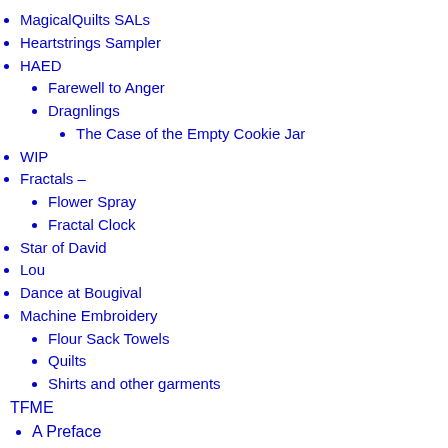MagicalQuilts SALs
Heartstrings Sampler
HAED
Farewell to Anger
Dragnlings
The Case of the Empty Cookie Jar
WIP
Fractals –
Flower Spray
Fractal Clock
Star of David
Lou
Dance at Bougival
Machine Embroidery
Flour Sack Towels
Quilts
Shirts and other garments
TFME
A Preface
Chapter 1 – The Road to Bosnia
Chapter 2 – Arrival at Blue Factory
Chapter 3 – Settling In